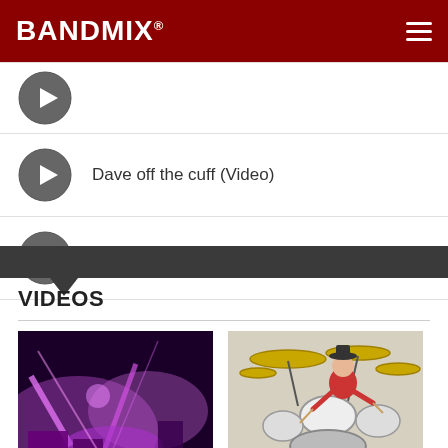BANDMIX
Dave off the cuff (Video)
Doing whatever (Video)
VIDEOS
[Figure (photo): Video thumbnail showing a drum kit on stage with purple/pink stage lighting]
[Figure (photo): Video thumbnail showing a drummer playing a full drum kit, viewed from above]